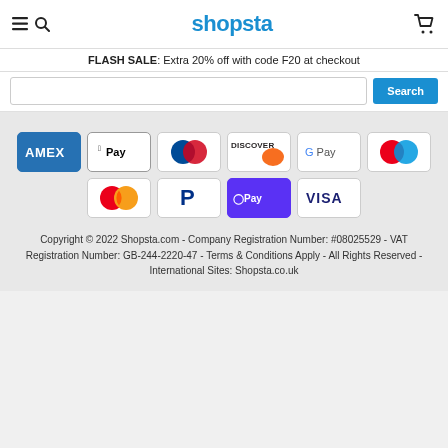shopsta
FLASH SALE: Extra 20% off with code F20 at checkout
[Figure (screenshot): Search input box and button (partially visible)]
[Figure (infographic): Payment method icons: AMEX, Apple Pay, Diners Club, Discover, Google Pay, Maestro, Mastercard, PayPal, Shop Pay, Visa]
Copyright © 2022 Shopsta.com - Company Registration Number: #08025529 - VAT Registration Number: GB-244-2220-47 - Terms & Conditions Apply - All Rights Reserved - International Sites: Shopsta.co.uk